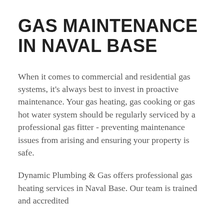GAS MAINTENANCE IN NAVAL BASE
When it comes to commercial and residential gas systems, it’s always best to invest in proactive maintenance. Your gas heating, gas cooking or gas hot water system should be regularly serviced by a professional gas fitter - preventing maintenance issues from arising and ensuring your property is safe.
Dynamic Plumbing & Gas offers professional gas heating services in Naval Base. Our team is trained and accredited